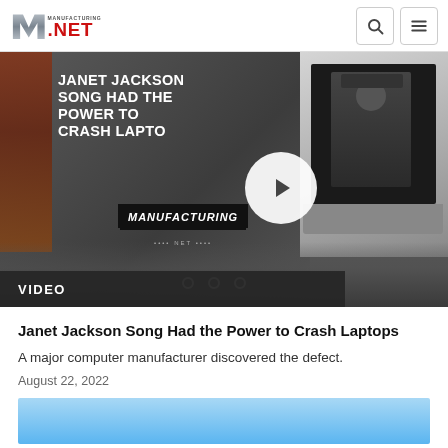Manufacturing.net
[Figure (screenshot): Video thumbnail showing text overlay 'JANET JACKSON SONG HAD THE POWER TO CRASH LAPTOPS' with play button, Manufacturing logo, and laptop with Janet Jackson image. Carousel dots below. VIDEO label bar at bottom.]
Janet Jackson Song Had the Power to Crash Laptops
A major computer manufacturer discovered the defect.
August 22, 2022
[Figure (photo): Partial blue image visible at bottom of page]